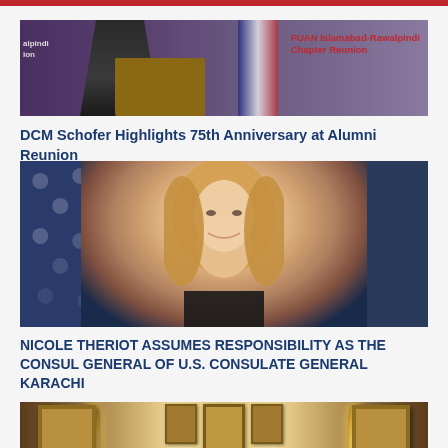[Figure (photo): Photo of a speaker at a podium with PUAN Islamabad-Rawalpindi Chapter Reunion banner visible]
DCM Schofer Highlights 75th Anniversary at Alumni Reunion
[Figure (photo): Portrait photo of Nicole Theriot, a woman with long blonde hair, smiling, with US flag in the background]
NICOLE THERIOT ASSUMES RESPONSIBILITY AS THE CONSUL GENERAL OF U.S. CONSULATE GENERAL KARACHI
[Figure (photo): Photo of an ornate room interior with portrait frames on the walls and lamps]